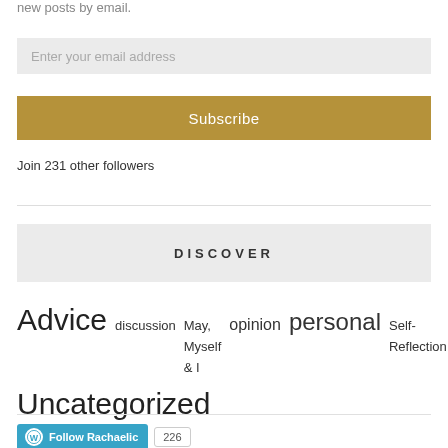new posts by email.
Enter your email address
Subscribe
Join 231 other followers
DISCOVER
Advice  discussion  May, Myself & I  opinion  personal  Self-Reflection  Uncategorized
Follow Rachaelic  226